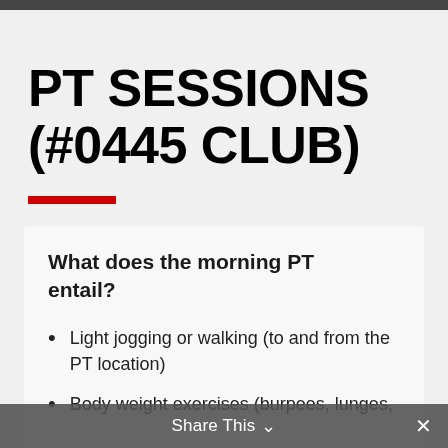PT SESSIONS (#0445 CLUB)
What does the morning PT entail?
Light jogging or walking (to and from the PT location)
Body weight exercises (burpees, lunges,
Share This ∨  ×